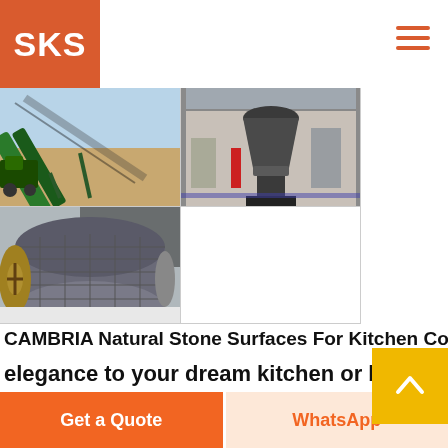SKS
[Figure (photo): Green conveyor belt machine on outdoor site with sandy ground]
[Figure (photo): Industrial cone crusher machine on factory floor]
[Figure (photo): Large industrial roller/drum equipment]
CAMBRIA Natural Stone Surfaces For Kitchen Countertops
elegance to your dream kitchen or bath with